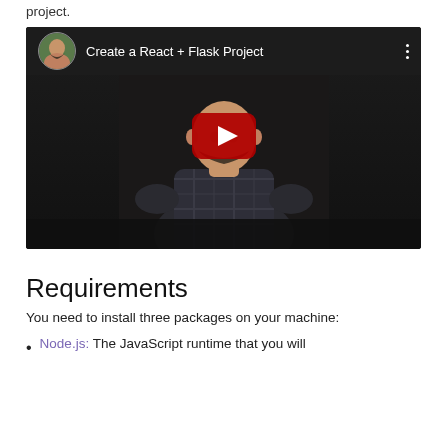project.
[Figure (screenshot): YouTube video thumbnail showing a bald man in a plaid shirt sitting in front of a camera. The video title reads 'Create a React + Flask Project'. A YouTube play button is visible in the center.]
Requirements
You need to install three packages on your machine:
Node.js: The JavaScript runtime that you will